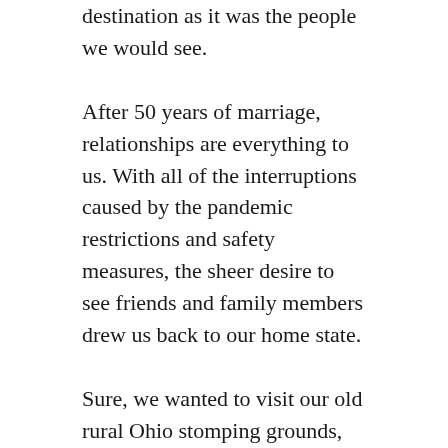destination as it was the people we would see.
After 50 years of marriage, relationships are everything to us. With all of the interruptions caused by the pandemic restrictions and safety measures, the sheer desire to see friends and family members drew us back to our home state.
Sure, we wanted to visit our old rural Ohio stomping grounds, Holmes County. Before that, though, would come a much anticipated week at our beloved Lakeside, Ohio. It’s the Buckeye State’s most beautiful mile.
We have relaxed there each July since 1987,